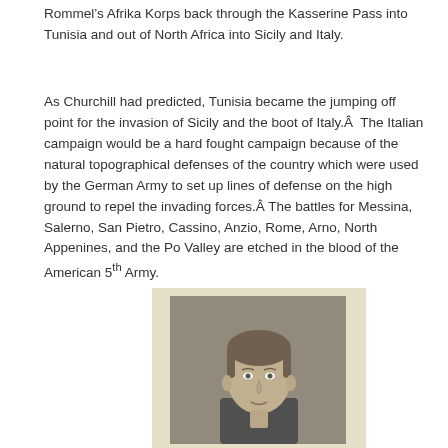Rommel’s Afrika Korps back through the Kasserine Pass into Tunisia and out of North Africa into Sicily and Italy.
As Churchill had predicted, Tunisia became the jumping off point for the invasion of Sicily and the boot of Italy.Â  The Italian campaign would be a hard fought campaign because of the natural topographical defenses of the country which were used by the German Army to set up lines of defense on the high ground to repel the invading forces.Â The battles for Messina, Salerno, San Pietro, Cassino, Anzio, Rome, Arno, North Appenines, and the Po Valley are etched in the blood of the American 5th Army.
[Figure (photo): Black and white portrait photograph of a young man in military attire, mounted on a cream/sepia-toned card background.]